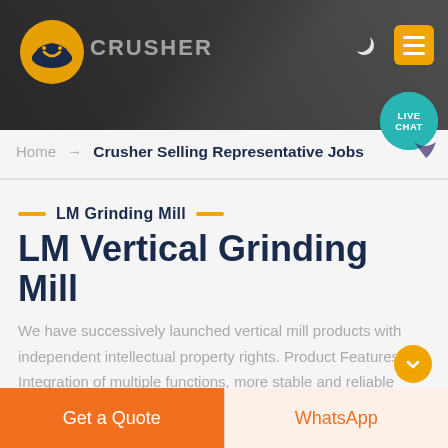[Figure (screenshot): Website header banner showing a crusher/mining equipment site with logo, dark mode toggle, menu button, and live chat bubble]
Home → Crusher Selling Representative Jobs
LM Grinding Mill
LM Vertical Grinding Mill
We have successively launched vertical mill products with independent intellectual property rights. Product Features: Integration of multiple functions, more stable and reliable production and more excellent capacity